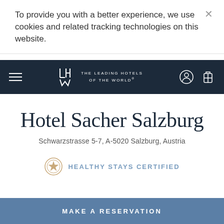To provide you with a better experience, we use cookies and related tracking technologies on this website.
[Figure (logo): The Leading Hotels of the World logo with LHW monogram and text]
Hotel Sacher Salzburg
Schwarzstrasse 5-7, A-5020 Salzburg, Austria
HEALTHY STAYS CERTIFIED
MAKE A RESERVATION